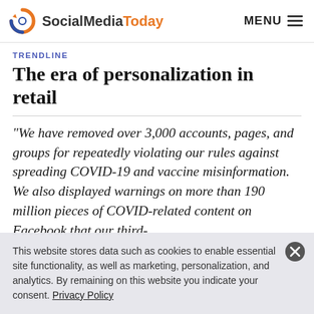SocialMediaToday | MENU
TRENDLINE
The era of personalization in retail
“We have removed over 3,000 accounts, pages, and groups for repeatedly violating our rules against spreading COVID-19 and vaccine misinformation. We also displayed warnings on more than 190 million pieces of COVID-related content on Facebook that our third-
This website stores data such as cookies to enable essential site functionality, as well as marketing, personalization, and analytics. By remaining on this website you indicate your consent. Privacy Policy